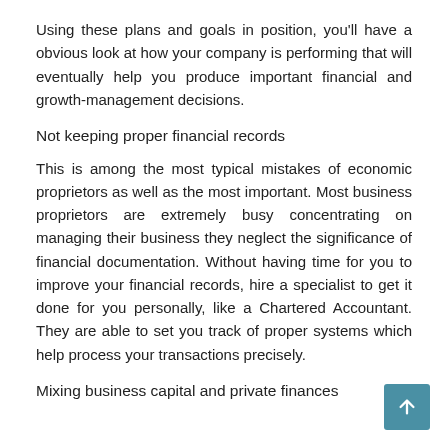Using these plans and goals in position, you'll have a obvious look at how your company is performing that will eventually help you produce important financial and growth-management decisions.
Not keeping proper financial records
This is among the most typical mistakes of economic proprietors as well as the most important. Most business proprietors are extremely busy concentrating on managing their business they neglect the significance of financial documentation. Without having time for you to improve your financial records, hire a specialist to get it done for you personally, like a Chartered Accountant. They are able to set you track of proper systems which help process your transactions precisely.
Mixing business capital and private finances